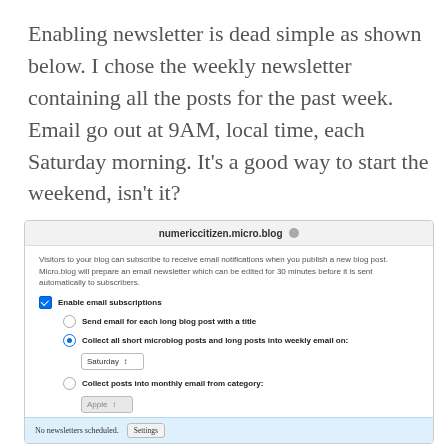Enabling newsletter is dead simple as shown below. I chose the weekly newsletter containing all the posts for the past week. Email go out at 9AM, local time, each Saturday morning. It's a good way to start the weekend, isn't it?
[Figure (screenshot): Screenshot of Micro.blog newsletter settings panel showing blog title 'numericcitizen.micro.blog', description text about email subscriptions, checkbox for 'Enable email subscriptions' (checked), radio options for 'Send email for each long blog post with a title' (unchecked) and 'Collect all short microblog posts and long posts into weekly email on: Saturday' (selected), and 'Collect posts into monthly email from category: Apple' (unchecked), with a blue footer bar showing 'No newsletters scheduled. Settings']